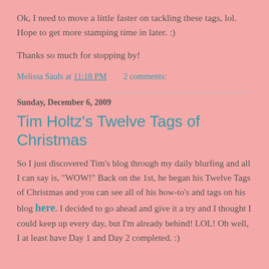Ok, I need to move a little faster on tackling these tags, lol. Hope to get more stamping time in later. :)
Thanks so much for stopping by!
Melissa Sauls at 11:18 PM    2 comments:
Sunday, December 6, 2009
Tim Holtz's Twelve Tags of Christmas
So I just discovered Tim's blog through my daily blurfing and all I can say is, "WOW!" Back on the 1st, he began his Twelve Tags of Christmas and you can see all of his how-to's and tags on his blog here. I decided to go ahead and give it a try and I thought I could keep up every day, but I'm already behind! LOL! Oh well, I at least have Day 1 and Day 2 completed. :)